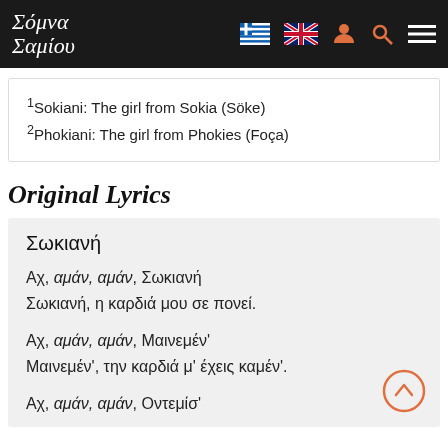Σόμνα Σαμίου
1Sokiani: The girl from Sokia (Söke)
2Phokiani: The girl from Phokies (Foça)
Original Lyrics
Σωκιανή

Αχ, αμάν, αμάν, Σωκιανή
Σωκιανή, η καρδιά μου σε πονεί.

Αχ, αμάν, αμάν, Μαινεμέν'
Μαινεμέν', την καρδιά μ' έχεις καμέν'.

Αχ, αμάν, αμάν, Οντεμίσ'